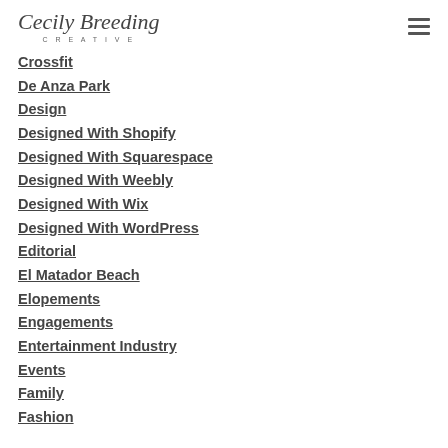Cecily Breeding Creative
Crossfit
De Anza Park
Design
Designed With Shopify
Designed With Squarespace
Designed With Weebly
Designed With Wix
Designed With WordPress
Editorial
El Matador Beach
Elopements
Engagements
Entertainment Industry
Events
Family
Fashion